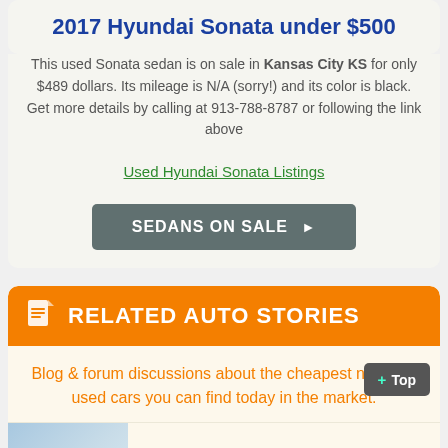2017 Hyundai Sonata under $500
This used Sonata sedan is on sale in Kansas City KS for only $489 dollars. Its mileage is N/A (sorry!) and its color is black. Get more details by calling at 913-788-8787 or following the link above
Used Hyundai Sonata Listings
SEDANS ON SALE ▶
RELATED AUTO STORIES
Blog & forum discussions about the cheapest new and used cars you can find today in the market.
▶ Hyundai Elantra 2015 - Pictures